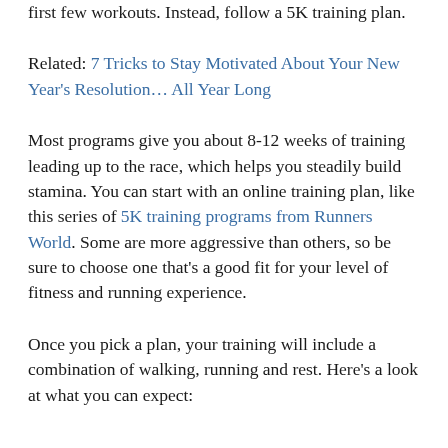first few workouts. Instead, follow a 5K training plan.
Related: 7 Tricks to Stay Motivated About Your New Year's Resolution… All Year Long
Most programs give you about 8-12 weeks of training leading up to the race, which helps you steadily build stamina. You can start with an online training plan, like this series of 5K training programs from Runners World. Some are more aggressive than others, so be sure to choose one that's a good fit for your level of fitness and running experience.
Once you pick a plan, your training will include a combination of walking, running and rest. Here's a look at what you can expect: